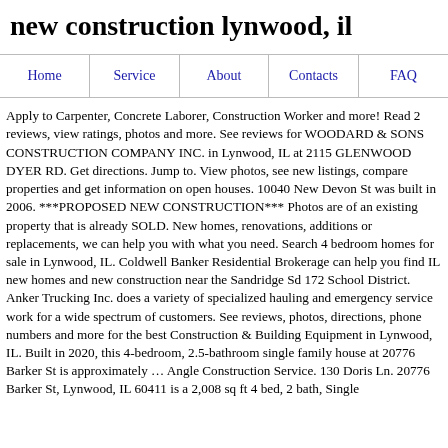new construction lynwood, il
| Home | Service | About | Contacts | FAQ |
| --- | --- | --- | --- | --- |
Apply to Carpenter, Concrete Laborer, Construction Worker and more! Read 2 reviews, view ratings, photos and more. See reviews for WOODARD & SONS CONSTRUCTION COMPANY INC. in Lynwood, IL at 2115 GLENWOOD DYER RD. Get directions. Jump to. View photos, see new listings, compare properties and get information on open houses. 10040 New Devon St was built in 2006. ***PROPOSED NEW CONSTRUCTION*** Photos are of an existing property that is already SOLD. New homes, renovations, additions or replacements, we can help you with what you need. Search 4 bedroom homes for sale in Lynwood, IL. Coldwell Banker Residential Brokerage can help you find IL new homes and new construction near the Sandridge Sd 172 School District. Anker Trucking Inc. does a variety of specialized hauling and emergency service work for a wide spectrum of customers. See reviews, photos, directions, phone numbers and more for the best Construction & Building Equipment in Lynwood, IL. Built in 2020, this 4-bedroom, 2.5-bathroom single family house at 20776 Barker St is approximately … Angle Construction Service. 130 Doris Ln. 20776 Barker St, Lynwood, IL 60411 is a 2,008 sq ft 4 bed, 2 bath, Single